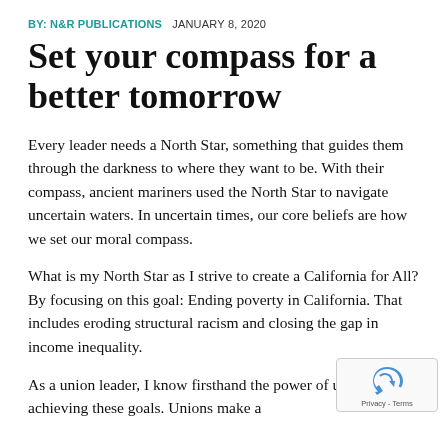BY: N&R PUBLICATIONS   JANUARY 8, 2020
Set your compass for a better tomorrow
Every leader needs a North Star, something that guides them through the darkness to where they want to be. With their compass, ancient mariners used the North Star to navigate uncertain waters. In uncertain times, our core beliefs are how we set our moral compass.
What is my North Star as I strive to create a California for All? By focusing on this goal: Ending poverty in California. That includes eroding structural racism and closing the gap in income inequality.
As a union leader, I know firsthand the power of unions in achieving these goals. Unions make a